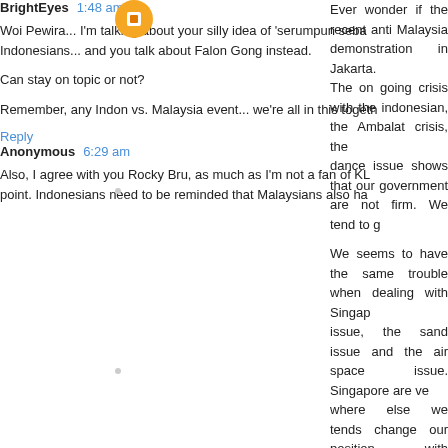Ever wonder if the recent anti Malaysia demonstration in Jakarta. The on going crisis with the indonesian, the Ambalat crisis, the dance issue shows that our government are not firm. We tend to g
We seems to have the same trouble when dealing with Singap issue, the sand issue and the air space issue. Singapore are ve where else we tends change our position with different leaders.
Reply
BrightEyes  1:48 am
Woi Pewira... I'm talking about your silly idea of 'serumpun seba Indonesians... and you talk about Falon Gong instead.
Can stay on topic or not?
Remember, any Indon vs. Malaysia event... we're all in this togeth
Reply
Anonymous  6:29 am
Also, I agree with you Rocky Bru, as much as I'm not a fan of KL point. Indonesians need to be reminded that Malaysians also ha